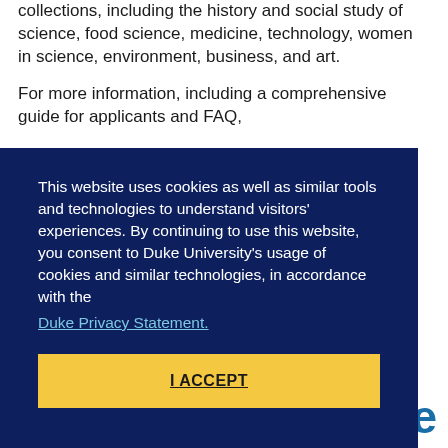collections, including the history and social study of science, food science, medicine, technology, women in science, environment, business, and art.
For more information, including a comprehensive guide for applicants and FAQ,
This website uses cookies as well as similar tools and technologies to understand visitors' experiences. By continuing to use this website, you consent to Duke University's usage of cookies and similar technologies, in accordance with the Duke Privacy Statement.
I ACCEPT